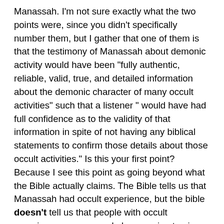Manassah. I'm not sure exactly what the two points were, since you didn't specifically number them, but I gather that one of them is that the testimony of Manassah about demonic activity would have been "fully authentic, reliable, valid, true, and detailed information about the demonic character of many occult activities" such that a listener " would have had full confidence as to the validity of that information in spite of not having any biblical statements to confirm those details about those occult activities." Is this your first point? Because I see this point as going beyond what the Bible actually claims. The Bible tells us that Manassah had occult experience, but the bible doesn't tell us that people with occult experience are ever and always going to give information that is without error. I take it that your repetition of words like authentic, reliable, valid, and true means that you absolutely, positively, certainly, without a doubt believe that Manassah could not be wrong about demonic matters. Why else would you emphasize his truthfulness so strongly?